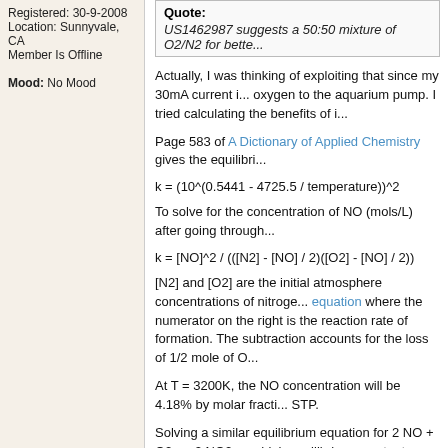Registered: 30-9-2008
Location: Sunnyvale, CA
Member Is Offline

Mood: No Mood
Quote:
US1462987 suggests a 50:50 mixture of O2/N2 for bette...
Actually, I was thinking of exploiting that since my 30mA current i... oxygen to the aquarium pump. I tried calculating the benefits of i...
Page 583 of A Dictionary of Applied Chemistry gives the equilibri...
To solve for the concentration of NO (mols/L) after going through...
[N2] and [O2] are the initial atmosphere concentrations of nitroge... equation where the numerator on the right is the reaction rate of formation. The subtraction accounts for the loss of 1/2 mole of O...
At T = 3200K, the NO concentration will be 4.18% by molar fracti... STP.
Solving a similar equilibrium equation for 2 NO + O2 => 2 NO2, u... high equilibrium constant (couldn't find it, but I'm pretty sure it's v... concentration will be 3.8% by volume.
Increasing the O2 concentration to 50% by volume resulted in a improvement. Plus, the reported NO % in an industrial setup is only reported as 1.5 - 2.0%, which is probably due to the... sure loss of a limiting factor.